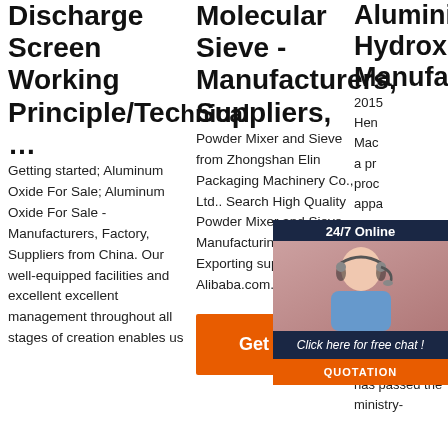Discharge Screen Working Principle/Technical...
Getting started; Aluminum Oxide For Sale; Aluminum Oxide For Sale - Manufacturers, Factory, Suppliers from China. Our well-equipped facilities and excellent excellent management throughout all stages of creation enables us
Molecular Sieve - Manufacturers, Suppliers,
Powder Mixer and Sieve from Zhongshan Elin Packaging Machinery Co., Ltd.. Search High Quality Powder Mixer and Sieve Manufacturing and Exporting supplier on Alibaba.com.
[Figure (other): Orange 'Get Price' button]
Aluminium Hydroxide Manufacturers, An...
2015 Henan Mac a pro proc appa Ministry Industry, factory producing GP and ZPG series of filters and the enterprise that has passed the ministry-
[Figure (other): 24/7 online chat widget with female customer service agent photo, 'Click here for free chat!' text, and orange QUOTATION button]